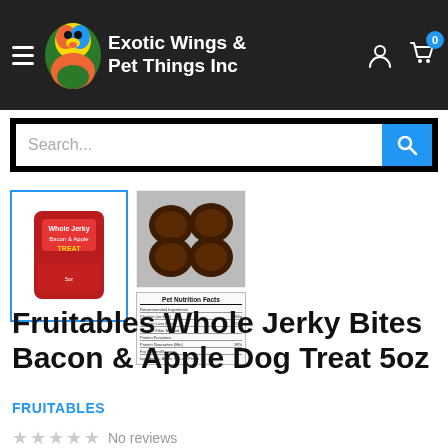Exotic Wings & Pet Things Inc
[Figure (screenshot): Search bar with blue search button]
[Figure (photo): Product thumbnail images: red bag of Fruitables Whole Jerky Bites Bacon & Apple Dog Treat, jerky bites photo, and Pet Nutrition Facts label]
Fruitables Whole Jerky Bites Bacon & Apple Dog Treat 5oz
FRUITABLES
No reviews